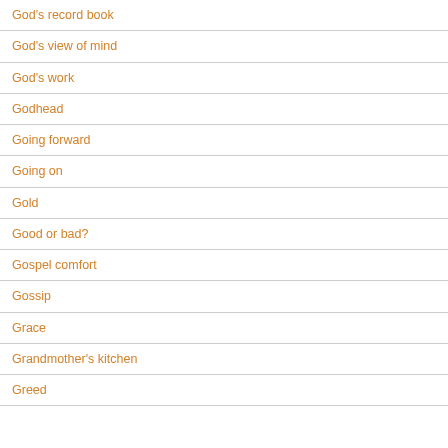God's record book
God's view of mind
God's work
Godhead
Going forward
Going on
Gold
Good or bad?
Gospel comfort
Gossip
Grace
Grandmother's kitchen
Greed